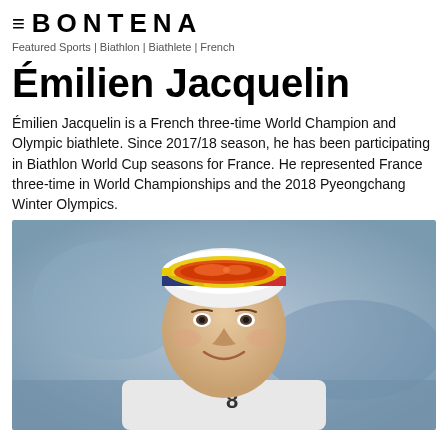≡ BONTENA
Featured Sports | Biathlon | Biathlete | French
Émilien Jacquelin
Émilien Jacquelin is a French three-time World Champion and Olympic biathlete. Since 2017/18 season, he has been participating in Biathlon World Cup seasons for France. He represented France three-time in World Championships and the 2018 Pyeongchang Winter Olympics.
[Figure (photo): Photo of Émilien Jacquelin, a young man wearing a white biathlon headband with a yellow and red ski goggle on his head, smiling, with a blurred outdoor winter background and a number 8 visible on his suit.]